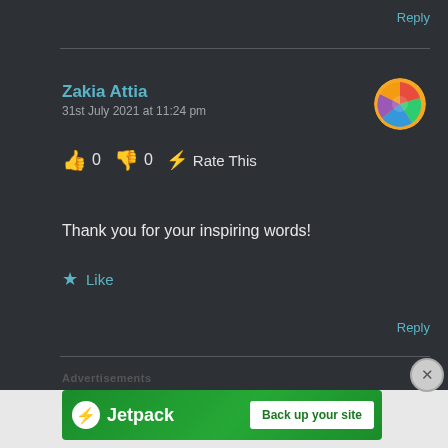Reply
Zakia Attia
31st July 2021 at 11:24 pm
👍 0 👎 0 ⚡ Rate This
Thank you for your inspiring words!
★ Like
Reply
Advertisements
[Figure (screenshot): Jetpack advertisement banner with green background showing Jetpack logo and 'Back up your site' button]